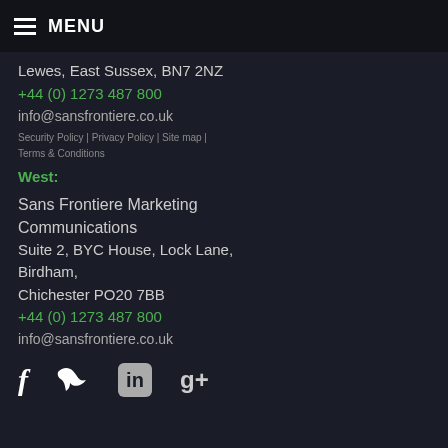MENU
Lewes, East Sussex, BN7 2NZ
+44 (0) 1273 487 800
info@sansfrontiere.co.uk
Security Policy | Privacy Policy | Site map | Terms & Conditions
West:
Sans Frontiere Marketing Communications
Suite 2, BYC House, Lock Lane, Birdham,
Chichester PO20 7BB
+44 (0) 1273 487 800
info@sansfrontiere.co.uk
[Figure (infographic): Social media icons: Facebook (f), Twitter (bird), LinkedIn (in box), Google+ (g+)]